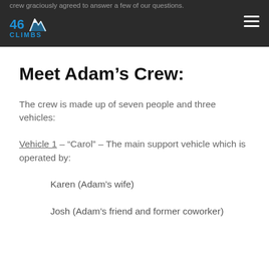crew graciously agreed to answer a few of our questions.
Meet Adam’s Crew:
The crew is made up of seven people and three vehicles:
Vehicle 1 – “Carol” – The main support vehicle which is operated by:
Karen (Adam’s wife)
Josh (Adam’s friend and former coworker)